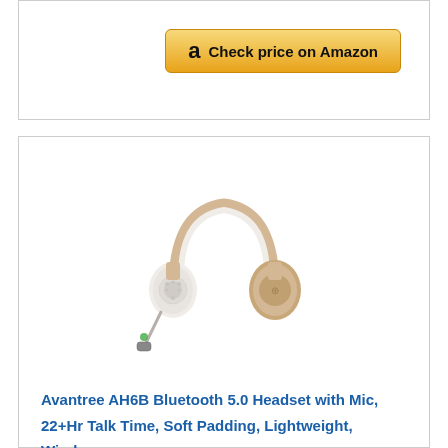[Figure (other): Amazon 'Check price on Amazon' button with Amazon logo 'a']
BESTSELLER NO. 2
[Figure (photo): Avantree AH6B Bluetooth 5.0 Headset in white and gold/champagne color, on-ear headphone with detachable microphone boom]
Avantree AH6B Bluetooth 5.0 Headset with Mic, 22+Hr Talk Time, Soft Padding, Lightweight, Wireless On-Ear Headphone with Microphone for PC,